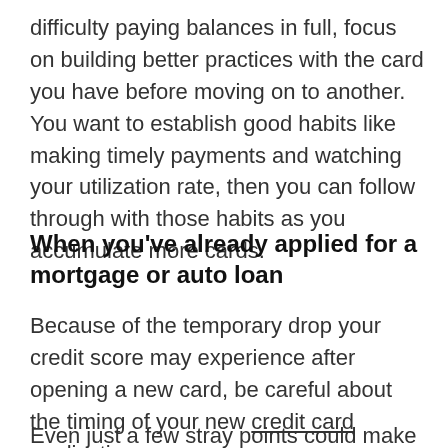difficulty paying balances in full, focus on building better practices with the card you have before moving on to another. You want to establish good habits like making timely payments and watching your utilization rate, then you can follow through with those habits as you accumulate more cards.
When you've already applied for a mortgage or auto loan
Because of the temporary drop your credit score may experience after opening a new card, be careful about the timing of your new credit card application.
Even just a few stray points could make a big